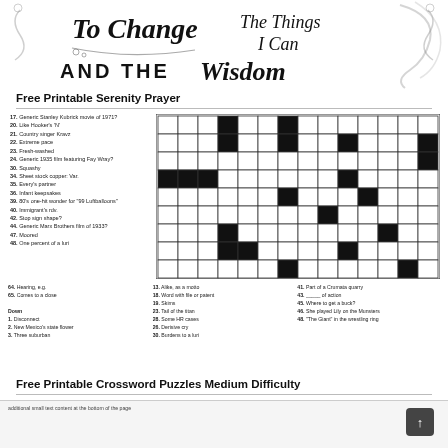[Figure (illustration): Decorative calligraphy image with text 'To Change The Things I Can AND THE Wisdom' - partial serenity prayer typography art]
Free Printable Serenity Prayer
[Figure (other): Crossword puzzle grid (black and white squares) with clues alongside and below]
Free Printable Crossword Puzzles Medium Difficulty
Bottom strip with additional small text content